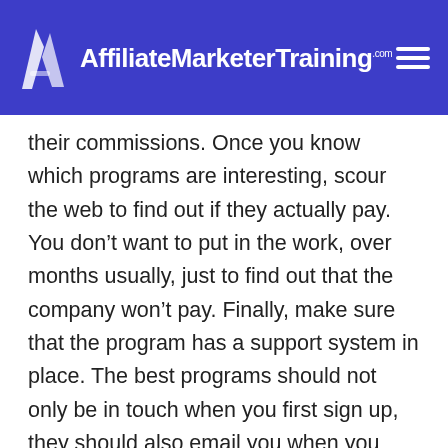AffiliateMarketerTraining.com
their commissions. Once you know which programs are interesting, scour the web to find out if they actually pay. You don't want to put in the work, over months usually, just to find out that the company won't pay. Finally, make sure that the program has a support system in place. The best programs should not only be in touch when you first sign up, they should also email you when you make sales, keep you up to date about earnings, and be available for problem-solving and